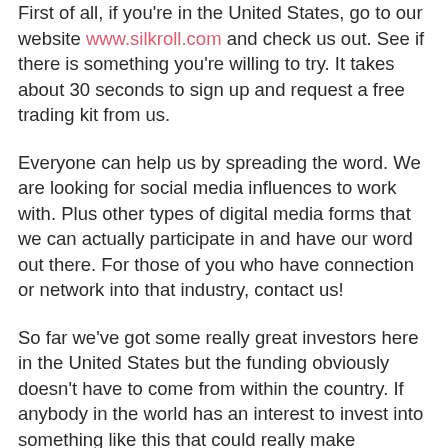First of all, if you're in the United States, go to our website www.silkroll.com and check us out. See if there is something you're willing to try. It takes about 30 seconds to sign up and request a free trading kit from us.
Everyone can help us by spreading the word. We are looking for social media influences to work with. Plus other types of digital media forms that we can actually participate in and have our word out there. For those of you who have connection or network into that industry, contact us!
So far we've got some really great investors here in the United States but the funding obviously doesn't have to come from within the country. If anybody in the world has an interest to invest into something like this that could really make